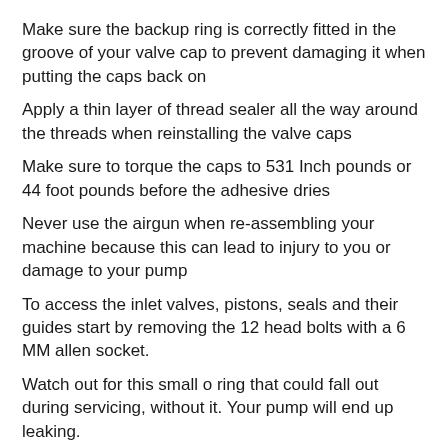Make sure the backup ring is correctly fitted in the groove of your valve cap to prevent damaging it when putting the caps back on
Apply a thin layer of thread sealer all the way around the threads when reinstalling the valve caps
Make sure to torque the caps to 531 Inch pounds or 44 foot pounds before the adhesive dries
Never use the airgun when re-assembling your machine because this can lead to injury to you or damage to your pump
To access the inlet valves, pistons, seals and their guides start by removing the 12 head bolts with a 6 MM allen socket.
Watch out for this small o ring that could fall out during servicing, without it. Your pump will end up leaking.
To remove the valves start by taking off the o rings near the valve. Be cautious not to pierce your o rings or they will have to be replaced.
Now you can take a pair of valve pliers to twist and pull the valve straight out
If you are not replacing your valves check the springs to make sure they are functioning properly